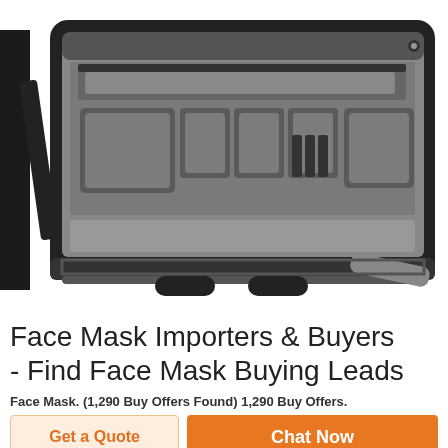[Figure (photo): Open tactical/range bag with gray interior, multiple pockets and slots, black exterior, shoulder strap visible on left side]
Face Mask Importers & Buyers - Find Face Mask Buying Leads
Face Mask. (1,290 Buy Offers Found) 1,290 Buy Offers.
Get a Quote
Chat Now